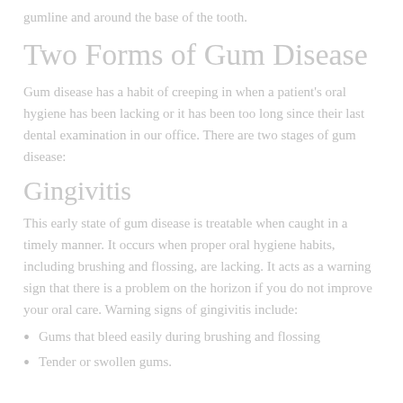gumline and around the base of the tooth.
Two Forms of Gum Disease
Gum disease has a habit of creeping in when a patient’s oral hygiene has been lacking or it has been too long since their last dental examination in our office. There are two stages of gum disease:
Gingivitis
This early state of gum disease is treatable when caught in a timely manner. It occurs when proper oral hygiene habits, including brushing and flossing, are lacking. It acts as a warning sign that there is a problem on the horizon if you do not improve your oral care. Warning signs of gingivitis include:
Gums that bleed easily during brushing and flossing
Tender or swollen gums.